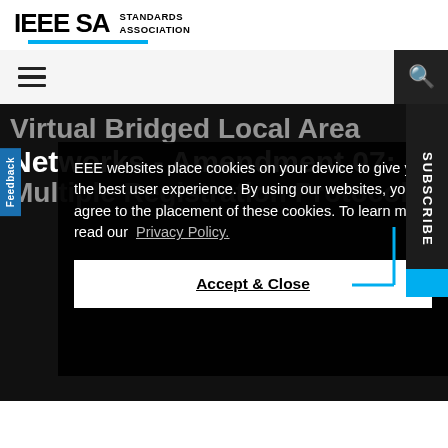IEEE SA STANDARDS ASSOCIATION
Virtual Bridged Local Area Networks - Amendment 07: Multiple Registration Protocol
IEEE websites place cookies on your device to give you the best user experience. By using our websites, you agree to the placement of these cookies. To learn more, read our Privacy Policy.
Accept & Close